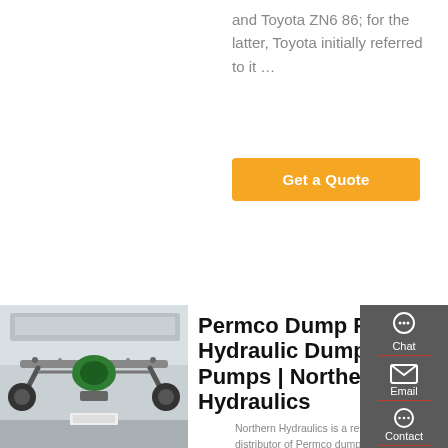and Toyota ZN6 86; for the latter, Toyota initially referred to it …
Get a Quote
[Figure (photo): Undercarriage view of a vehicle showing suspension and drivetrain components]
Permco Dump Pumps | Hydraulic Dump Pumps | Northern Hydraulics
Northern Hydraulics is a reliable distributor of Permco dump pumps. Read about the various hydraulic pumps we offer, and their numerous features, online today. PERMCO Dump Pumps